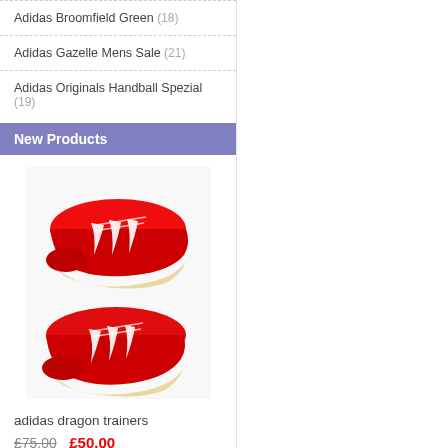Adidas Broomfield Green (18)
Adidas Gazelle Mens Sale (21)
Adidas Originals Handball Spezial (19)
New Products
[Figure (photo): Red Adidas dragon trainers with white stripes, shown as a pair from above on a white background]
adidas dragon trainers
£75.00  £50.00
Save: 33% off
Sold:
★★★★★ (682)  ♥ like